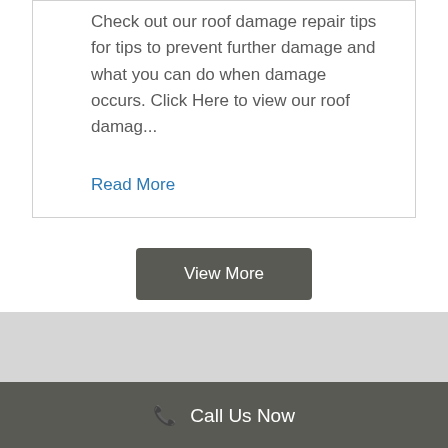Check out our roof damage repair tips for tips to prevent further damage and what you can do when damage occurs. Click Here to view our roof damag...
Read More
View More
Call Us Now